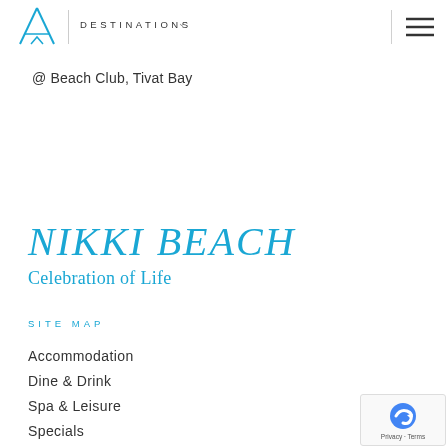[Figure (logo): Nikki Beach triangular tent/logo icon in cyan/teal]
DESTINATIONS
@ Beach Club, Tivat Bay
NIKKI BEACH
Celebration of Life
SITE MAP
Accommodation
Dine & Drink
Spa & Leisure
Specials